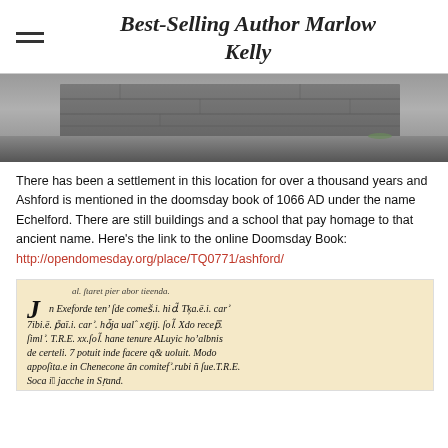Best-Selling Author Marlow Kelly
[Figure (photo): Photograph of a stone wall or pavement, grey tones, outdoor setting]
There has been a settlement in this location for over a thousand years and Ashford is mentioned in the doomsday book of 1066 AD under the name Echelford. There are still buildings and a school that pay homage to that ancient name. Here’s the link to the online Doomsday Book: http://opendomesday.org/place/TQ0771/ashford/
[Figure (photo): Photograph of a page from the Domesday Book showing medieval Latin script in black and red ink on parchment]